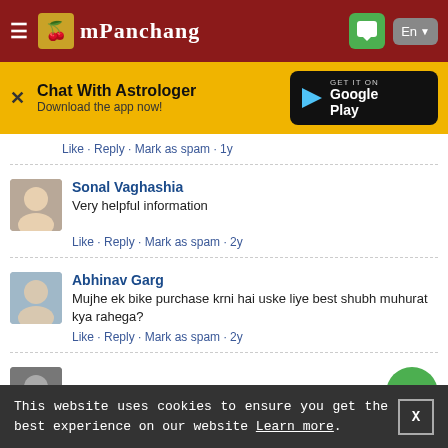mPanchang
[Figure (screenshot): mPanchang website screenshot showing comments section with a promotional banner and cookie consent bar]
Chat With Astrologer
Download the app now!
Like · Reply · Mark as spam · 1y
Sonal Vaghashia
Very helpful information
Like · Reply · Mark as spam · 2y
Abhinav Garg
Mujhe ek bike purchase krni hai uske liye best shubh muhurat kya rahega?
Like · Reply · Mark as spam · 2y
Subham Consatarucsion
This website uses cookies to ensure you get the best experience on our website Learn more.